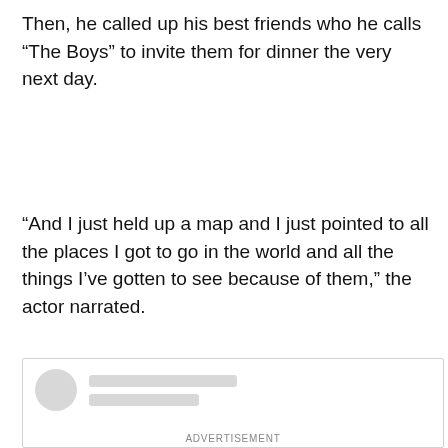Then, he called up his best friends who he calls “The Boys” to invite them for dinner the very next day.
“And I just held up a map and I just pointed to all the places I got to go in the world and all the things I’ve gotten to see because of them,” the actor narrated.
[Figure (other): Blurred/placeholder social media post embed with avatar circle and two gray lines representing blurred text, with ADVERTISEMENT label below]